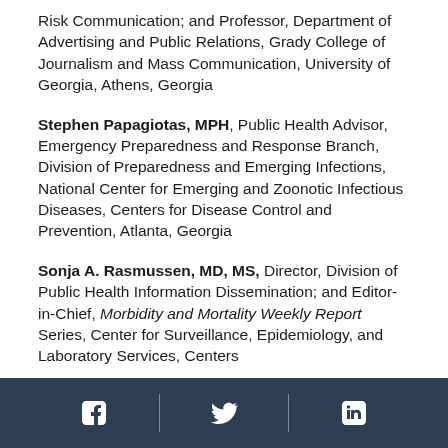Risk Communication; and Professor, Department of Advertising and Public Relations, Grady College of Journalism and Mass Communication, University of Georgia, Athens, Georgia
Stephen Papagiotas, MPH, Public Health Advisor, Emergency Preparedness and Response Branch, Division of Preparedness and Emerging Infections, National Center for Emerging and Zoonotic Infectious Diseases, Centers for Disease Control and Prevention, Atlanta, Georgia
Sonja A. Rasmussen, MD, MS, Director, Division of Public Health Information Dissemination; and Editor-in-Chief, Morbidity and Mortality Weekly Report Series, Center for Surveillance, Epidemiology, and Laboratory Services, Centers
[Facebook icon] [Twitter icon] [LinkedIn icon]